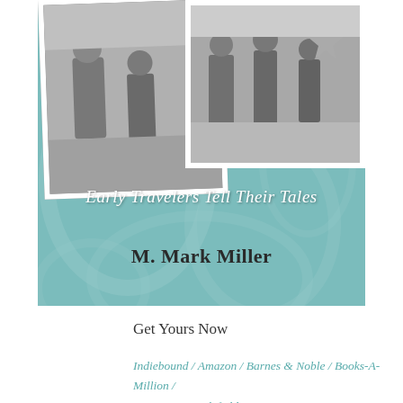[Figure (photo): Book cover with teal background showing two vintage black-and-white photographs of early travelers/outdoor scenes, with subtitle 'Early Travelers Tell Their Tales' and author name 'M. Mark Miller']
Get Yours Now
Indiebound / Amazon / Barnes & Noble / Books-A-Million / Rowman & Littlefield /